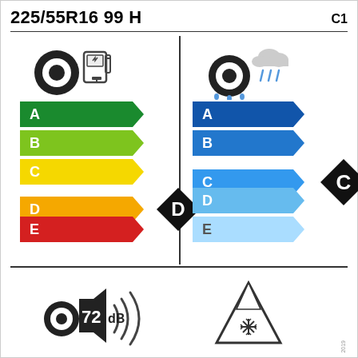225/55R16 99 H    C1
[Figure (infographic): EU tyre label showing fuel efficiency rating D (left panel with coloured arrow scale A-E, tire+fuel pump icon) and wet grip rating C (right panel with coloured arrow scale A-E, tire+rain cloud icon), plus noise rating 72 dB and snowflake mountain symbol in the bottom section.]